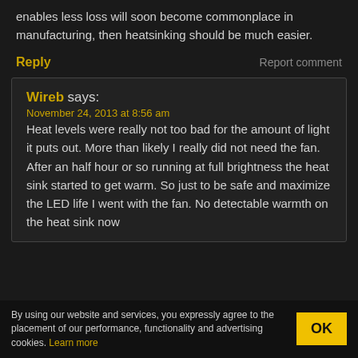enables less loss will soon become commonplace in manufacturing, then heatsinking should be much easier.
Reply    Report comment
Wireb says:
November 24, 2013 at 8:56 am
Heat levels were really not too bad for the amount of light it puts out. More than likely I really did not need the fan. After an half hour or so running at full brightness the heat sink started to get warm. So just to be safe and maximize the LED life I went with the fan. No detectable warmth on the heat sink now
By using our website and services, you expressly agree to the placement of our performance, functionality and advertising cookies. Learn more